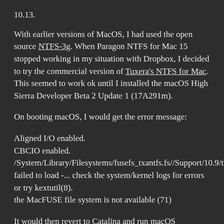10.13.
With earlier versions of MacOS, I had used the open source NTFS-3g. When Paragon NTFS for Mac 15 stopped working in my situation with Dropbox, I decided to try the commercial version of Tuxera's NTFS for Mac. This seemed to work ok until I installed the macOS High Sierra Developer Beta 2 Update 1 (17A291m).
On booting macOS, I would get the error message:
Aligned I/O enabled.
CBCIO enabled.
/System/Library/Filesystems/fusefs_txantfs.fs//Support/10.9/tufs/tufsfs.kext failed to load -... check the system/kernel logs for errors or try kextutil(8).
the MacFUSE file system is not available (71)
It would then revert to Catalina and run macOS 10.13. After the